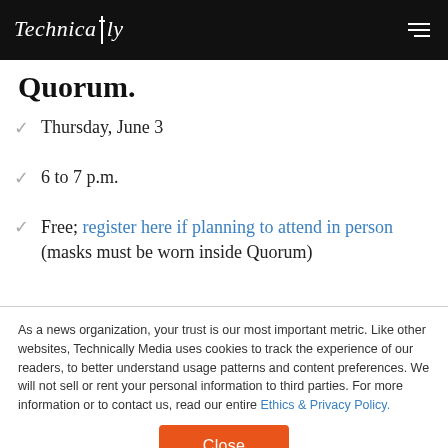Technically
Quorum.
Thursday, June 3
6 to 7 p.m.
Free; register here if planning to attend in person (masks must be worn inside Quorum)
As a news organization, your trust is our most important metric. Like other websites, Technically Media uses cookies to track the experience of our readers, to better understand usage patterns and content preferences. We will not sell or rent your personal information to third parties. For more information or to contact us, read our entire Ethics & Privacy Policy.